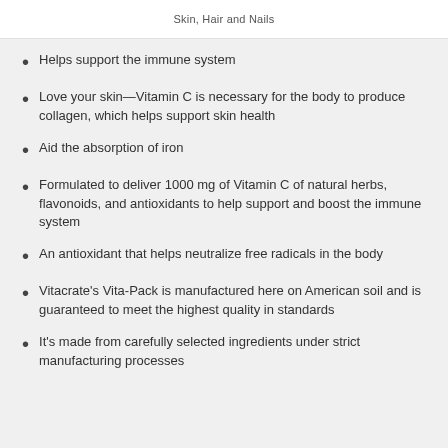Skin, Hair and Nails
Helps support the immune system
Love your skin—Vitamin C is necessary for the body to produce collagen, which helps support skin health
Aid the absorption of iron
Formulated to deliver 1000 mg of Vitamin C of natural herbs, flavonoids, and antioxidants to help support and boost the immune system
An antioxidant that helps neutralize free radicals in the body
Vitacrate's Vita-Pack is manufactured here on American soil and is guaranteed to meet the highest quality in standards
It's made from carefully selected ingredients under strict manufacturing processes